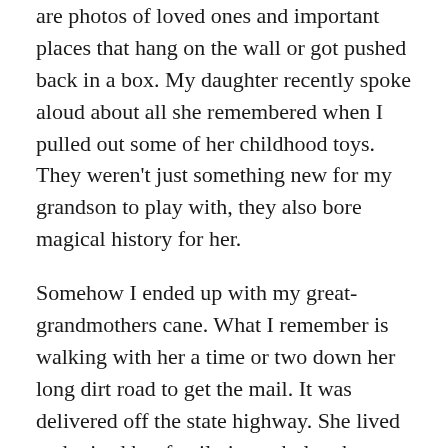are photos of loved ones and important places that hang on the wall or got pushed back in a box. My daughter recently spoke aloud about all she remembered when I pulled out some of her childhood toys. They weren't just something new for my grandson to play with, they also bore magical history for her.
Somehow I ended up with my great-grandmothers cane. What I remember is walking with her a time or two down her long dirt road to get the mail. It was delivered off the state highway. She lived and raised her family in a whole other world. A world of pastures, sheep, horses and red dirt. I think I spent every summer of my childhood swimming and fishing in the river. See, that little tiny cane sitting by the front door of my house is filled with wonder. I was thinking the other evening about how I would